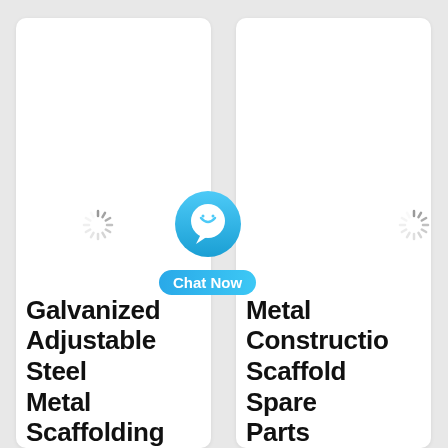[Figure (screenshot): Two product cards side by side on a light grey background. Left card shows a loading spinner and bottom text 'Galvanized Adjustable Steel Metal Scaffolding'. Right card shows a loading spinner and bottom text 'Metal Construction Scaffold Spare Parts'. A 'Chat Now' floating button with a blue chat bubble icon is centered between the cards.]
Galvanized Adjustable Steel Metal Scaffolding
Metal Construction Scaffold Spare Parts